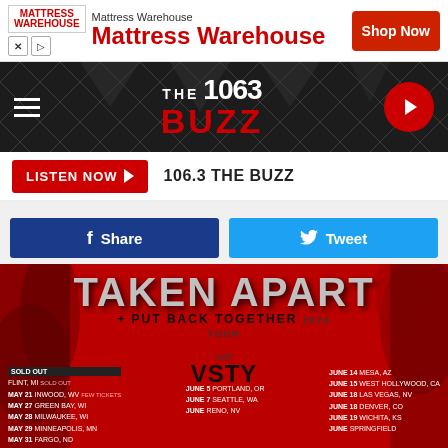[Figure (screenshot): Mattress Warehouse advertisement banner with logo, large text 'Mattress Warehouse', and red 'Shop Now' button]
[Figure (screenshot): 106.3 The Buzz radio station navigation bar with hamburger menu, station logo, and red play button]
LISTEN NOW  106.3 THE BUZZ
Share   Tweet
[Figure (illustration): Taken Apart + Put Back Together Tour concert poster with red background, tour dates including Flint MI, Inwood WV, Green Bay WI, Milwaukee WI, Minneapolis MN, Fargo ND, Portland OR, Seattle WA, Reno NV, Mesa AZ, West Hollywood CA, Las Vegas NV, Denver CO, Wichita KS, and more. Features VSTY band logo.]